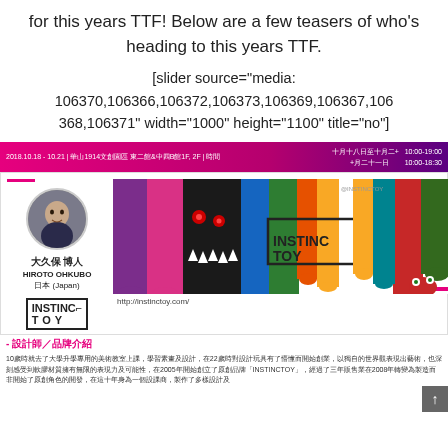for this years TTF! Below are a few teasers of who's heading to this years TTF.
[slider source="media: 106370,106366,106372,106373,106369,106367,106368,106371" width="1000" height="1100" title="no"]
[Figure (infographic): Event banner for 2018.10.18-10.21 at 華山1914文創園區 東二館&中四B館1F,2F, with hours 十月十八日至十月二+ 10:00-19:00, +月二十一日 10:00-18:30, in pink/purple gradient]
[Figure (infographic): Artist profile card for 大久保 博人 HIROTO OHKUBO, 日本 (Japan), INSTINCTOY brand. Shows photo of man, INSTINCTOY logo, colorful dripping monster artwork, and website http://instinctoy.com/]
- 設計師／品牌介紹
10歲時就去了大學升學專用的美術教室上課，學習素畫及設計，在22歲時對設計玩具有了懵懂而開始創業，以獨自的世界觀表現出藝術，也深刻感受到軟膠材質擁有無限的表現力及可能性，在2005年開始創立了原創品牌「INSTINCTOY」，經過了三年販售業在2008年轉變為製造而非開始了原創角色的開發，在這十年身為一個設課商，製作了多樣設計及